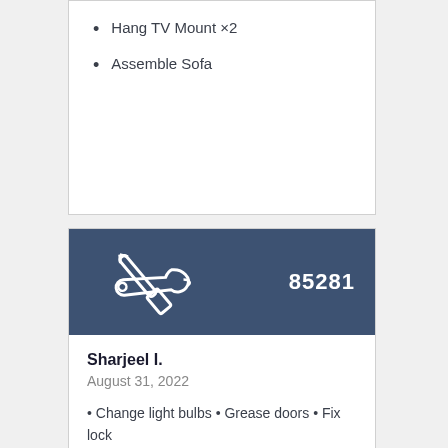Hang TV Mount ×2
Assemble Sofa
[Figure (illustration): Dark blue banner with crossed screwdriver and wrench icon on left, and number 85281 on right]
Sharjeel I.
August 31, 2022
Change light bulbs • Grease doors • Fix lock